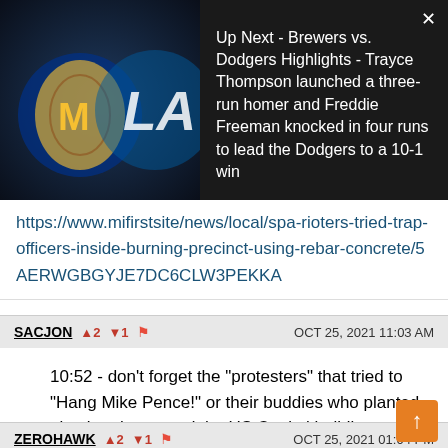[Figure (screenshot): Ad overlay showing Brewers vs Dodgers baseball logos on dark background with video ad label 'Ad 1 of 1 (0:30)' and close button X]
Up Next - Brewers vs. Dodgers Highlights - Trayce Thompson launched a three-run homer and Freddie Freeman knocked in four runs to lead the Dodgers to a 10-1 win
https://www.mifirstsite/news/local/spa-rioters-tried-trap-officers-inside-burning-precinct-using-rebar-concrete/5AERWGBGYJE7DC6CLW3PEKKA
SACJON ▲2 ▼1 🚩 OCT 25, 2021 11:03 AM
10:52 - don't forget the "protesters" that tried to "Hang Mike Pence!" or their buddies who planted pipe bombs around the US Capitol building.
ZEROHAWK ▲2 ▼1 🚩 OCT 25, 2021 01:04 PM